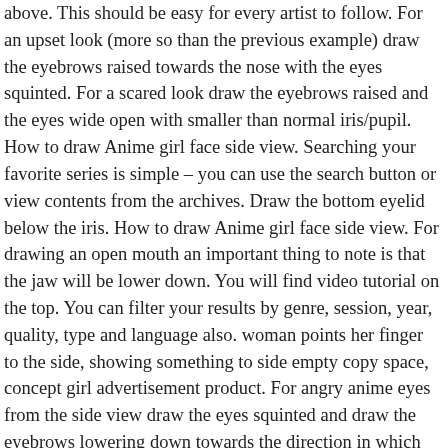above. This should be easy for every artist to follow. For an upset look (more so than the previous example) draw the eyebrows raised towards the nose with the eyes squinted. For a scared look draw the eyebrows raised and the eyes wide open with smaller than normal iris/pupil. How to draw Anime girl face side view. Searching your favorite series is simple – you can use the search button or view contents from the archives. Draw the bottom eyelid below the iris. How to draw Anime girl face side view. For drawing an open mouth an important thing to note is that the jaw will be lower down. You will find video tutorial on the top. You can filter your results by genre, session, year, quality, type and language also. woman points her finger to the side, showing something to side empty copy space, concept girl advertisement product. For angry anime eyes from the side view draw the eyes squinted and draw the eyebrows lowering down towards the direction in which the eyes are looking. Like. For a grinning look like the character is plotting something draw the